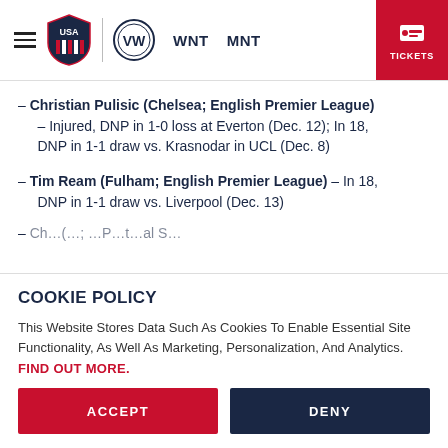USA Soccer — WNT MNT — TICKETS
– Christian Pulisic (Chelsea; English Premier League) – Injured, DNP in 1-0 loss at Everton (Dec. 12); In 18, DNP in 1-1 draw vs. Krasnodar in UCL (Dec. 8)
– Tim Ream (Fulham; English Premier League) – In 18, DNP in 1-1 draw vs. Liverpool (Dec. 13)
COOKIE POLICY
This Website Stores Data Such As Cookies To Enable Essential Site Functionality, As Well As Marketing, Personalization, And Analytics.
FIND OUT MORE.
ACCEPT   DENY